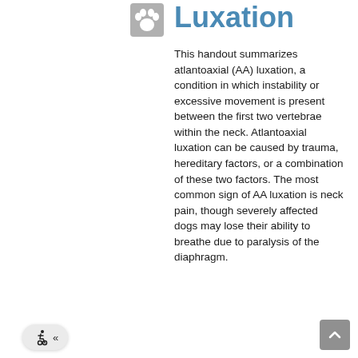[Figure (logo): Paw print icon in grey, representing veterinary/animal medical content]
Luxation
This handout summarizes atlantoaxial (AA) luxation, a condition in which instability or excessive movement is present between the first two vertebrae within the neck. Atlantoaxial luxation can be caused by trauma, hereditary factors, or a combination of these two factors. The most common sign of AA luxation is neck pain, though severely affected dogs may lose their ability to breathe due to paralysis of the diaphragm.